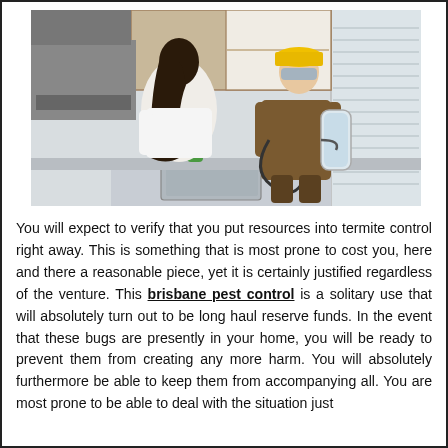[Figure (photo): A woman with dark hair in white shirt standing at a kitchen counter next to a pest control worker in brown uniform and yellow hard hat, who is spraying into an open cabinet above the sink.]
You will expect to verify that you put resources into termite control right away. This is something that is most prone to cost you, here and there a reasonable piece, yet it is certainly justified regardless of the venture. This brisbane pest control is a solitary use that will absolutely turn out to be long haul reserve funds. In the event that these bugs are presently in your home, you will be ready to prevent them from creating any more harm. You will absolutely furthermore be able to keep them from accompanying all. You are most prone to be able to deal with the situation just